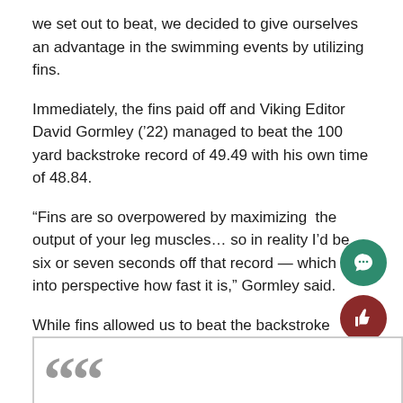we set out to beat, we decided to give ourselves an advantage in the swimming events by utilizing fins.
Immediately, the fins paid off and Viking Editor David Gormley (’22) managed to beat the 100 yard backstroke record of 49.49 with his own time of 48.84.
“Fins are so overpowered by maximizing the output of your leg muscles… so in reality I’d be six or seven seconds off that record — which puts into perspective how fast it is,” Gormley said.
While fins allowed us to beat the backstroke record, we were not as fortunate with the next records we attempted.